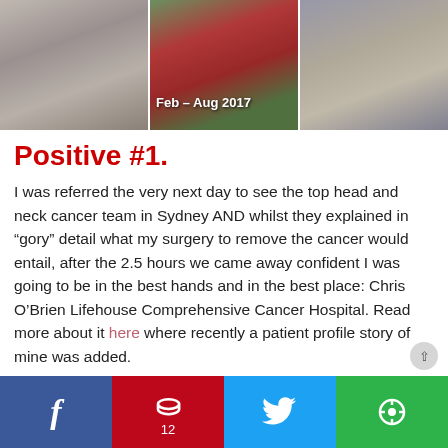[Figure (photo): Three side-by-side photos of a woman: left photo shows elderly woman facing camera, middle photo labeled 'Feb - Aug 2017' shows woman outdoors in red top, right photo shows woman with glasses]
Positive #1.
I was referred the very next day to see the top head and neck cancer team in Sydney AND whilst they explained in “gory” detail what my surgery to remove the cancer would entail, after the 2.5 hours we came away confident I was going to be in the best hands and in the best place: Chris O’Brien Lifehouse Comprehensive Cancer Hospital. Read more about it here where recently a patient profile story of mine was added.
Positive #2.
I finally had an answer to the painful, awful and not pleasant
[Figure (infographic): Social sharing bar with Facebook (blue), Pinterest (red, count 12), Twitter (light blue), and More (green) buttons]